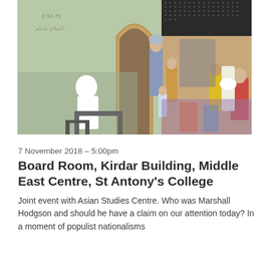[Figure (illustration): A collage-style illustration combining a black-and-white image of a person seated at a desk on the left with a colorful Persian/Islamic miniature painting on the right, showing robed figures in a courtly scene with decorative architectural elements and patterned backgrounds.]
7 November 2018 – 5:00pm
Board Room, Kirdar Building, Middle East Centre, St Antony's College
Joint event with Asian Studies Centre. Who was Marshall Hodgson and should he have a claim on our attention today? In a moment of populist nationalisms